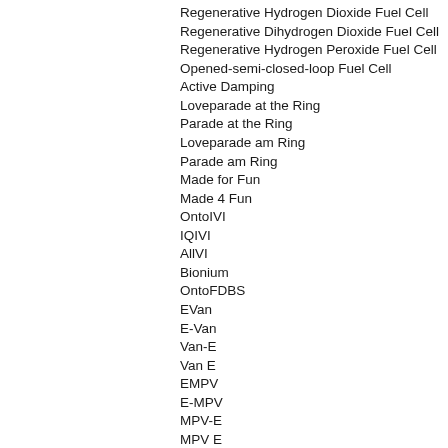Regenerative Hydrogen Dioxide Fuel Cell
Regenerative Dihydrogen Dioxide Fuel Cell
Regenerative Hydrogen Peroxide Fuel Cell
Opened-semi-closed-loop Fuel Cell
Active Damping
Loveparade at the Ring
Parade at the Ring
Loveparade am Ring
Parade am Ring
Made for Fun
Made 4 Fun
OntoIVI
IQIVI
AllVI
Bionium
OntoFDBS
EVan
E-Van
Van-E
Van E
EMPV
E-MPV
MPV-E
MPV E
EMUV
E-MUV
MUV-E
MUV E
T-E
TE